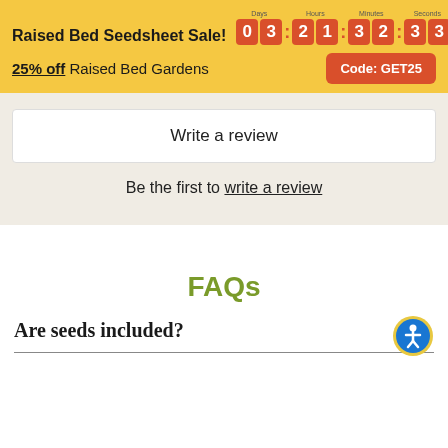Raised Bed Seedsheet Sale! 0 3 : 2 1 : 3 2 : 3 3
25% off Raised Bed Gardens  Code: GET25
Write a review
Be the first to write a review
FAQs
Are seeds included?